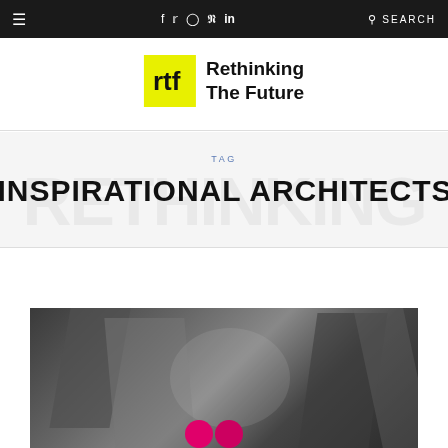≡  f  𝕏  ◎  𝒫  in  🔍  SEARCH
[Figure (logo): Rethinking The Future logo with yellow RTF square icon and text]
TAG
INSPIRATIONAL ARCHITECTS
[Figure (photo): Black and white architectural interior photo with pink/magenta circular elements at the bottom]